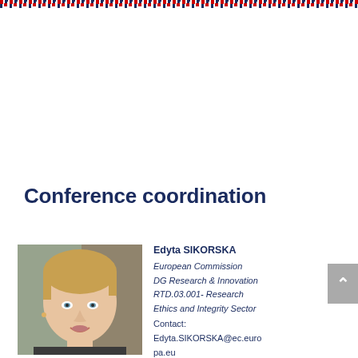[Figure (screenshot): Website header with EU Croatian Presidency logo, Forum of National Ethics Councils (NEC) and Meeting of European Group on Ethics in Science and New Technologies (EGE) title text, and European Commission logo]
Conference coordination
[Figure (photo): Portrait photo of Edyta SIKORSKA, a woman with short blonde hair]
Edyta SIKORSKA
European Commission
DG Research & Innovation
RTD.03.001- Research Ethics and Integrity Sector
Contact:
Edyta.SIKORSKA@ec.europa.eu